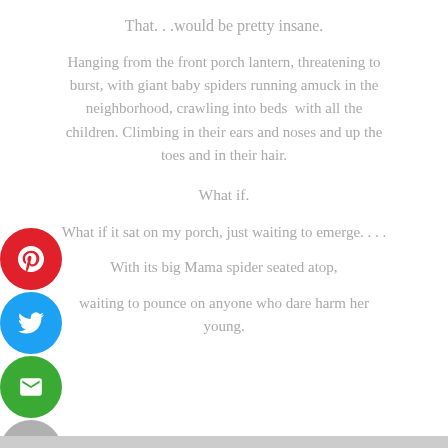That. . .would be pretty insane.
Hanging from the front porch lantern, threatening to burst, with giant baby spiders running amuck in the neighborhood, crawling into beds  with all the children. Climbing in their ears and noses and up the toes and in their hair.
What if.
What if it sat on my porch, just waiting to emerge. . . .
With its big Mama spider seated atop,
waiting to pounce on anyone who dare harm her young.